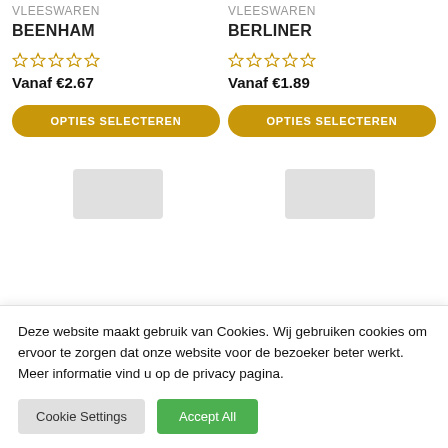VLEESWAREN
BEENHAM
☆☆☆☆☆
Vanaf €2.67
OPTIES SELECTEREN
VLEESWAREN
BERLINER
☆☆☆☆☆
Vanaf €1.89
OPTIES SELECTEREN
[Figure (other): Two product image placeholders (grey boxes) partially visible at bottom of product grid]
Deze website maakt gebruik van Cookies. Wij gebruiken cookies om ervoor te zorgen dat onze website voor de bezoeker beter werkt. Meer informatie vind u op de privacy pagina.
Cookie Settings
Accept All